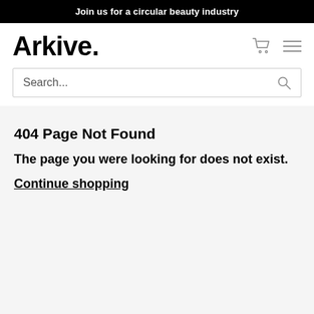Join us for a circular beauty industry
Arkive.
Search...
404 Page Not Found
The page you were looking for does not exist.
Continue shopping
Join the movement, fight w
English >